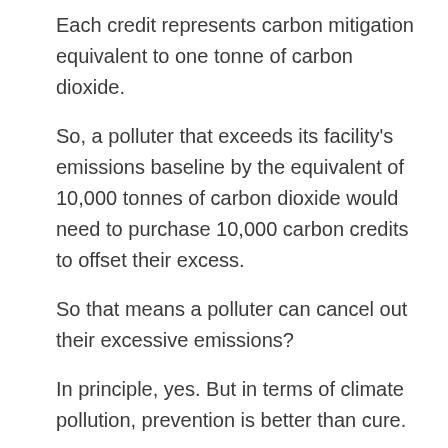Each credit represents carbon mitigation equivalent to one tonne of carbon dioxide.
So, a polluter that exceeds its facility's emissions baseline by the equivalent of 10,000 tonnes of carbon dioxide would need to purchase 10,000 carbon credits to offset their excess.
So that means a polluter can cancel out their excessive emissions?
In principle, yes. But in terms of climate pollution, prevention is better than cure.
Ultimately, the work, money and time required to remove carbon from the atmosphere can be avoided by reducing pollution at the source: by